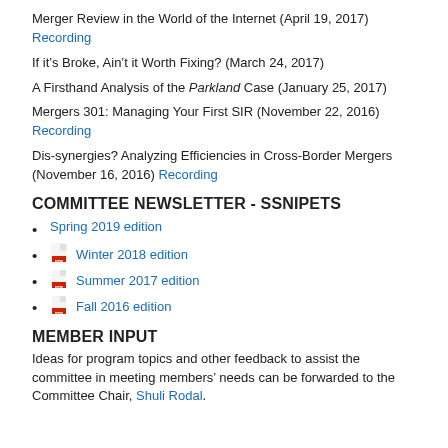Merger Review in the World of the Internet (April 19, 2017) Recording
If it's Broke, Ain't it Worth Fixing? (March 24, 2017)
A Firsthand Analysis of the Parkland Case (January 25, 2017)
Mergers 301: Managing Your First SIR (November 22, 2016) Recording
Dis-synergies? Analyzing Efficiencies in Cross-Border Mergers (November 16, 2016) Recording
COMMITTEE NEWSLETTER - SSNIPETS
Spring 2019 edition
Winter 2018 edition
Summer 2017 edition
Fall 2016 edition
MEMBER INPUT
Ideas for program topics and other feedback to assist the committee in meeting members' needs can be forwarded to the Committee Chair, Shuli Rodal.